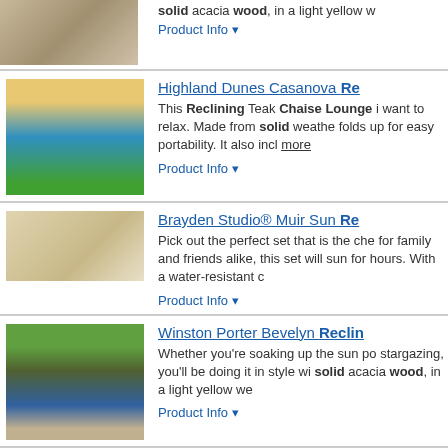[Figure (photo): Outdoor furniture photo - chairs on patio (top, partially visible)]
solid acacia wood, in a light yellow w...
Product Info ▼
Highland Dunes Casanova Re...
This Reclining Teak Chaise Lounge i... want to relax. Made from solid weathe... folds up for easy portability. It also incl... more
Product Info ▼
Brayden Studio® Muir Sun Re...
Pick out the perfect set that is the che... for family and friends alike, this set will... sun for hours. With a water-resistant c...
Product Info ▼
Winston Porter Bevelyn Reclin...
Whether you're soaking up the sun po... stargazing, you'll be doing it in style wi... solid acacia wood, in a light yellow we...
Product Info ▼
Longshore Tides Cano Day Be...
Enrich the look of your home with this... use indoors and on covered porches, i... spent in your favorite location even mo... ... more
Product Info ▼